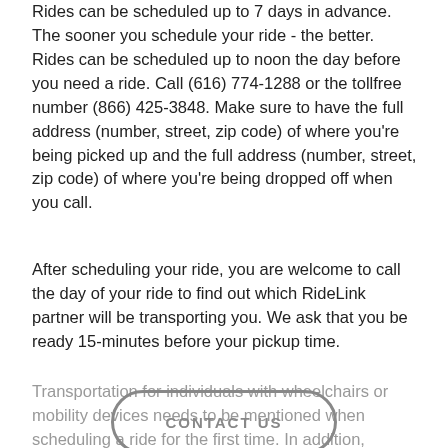Rides can be scheduled up to 7 days in advance. The sooner you schedule your ride - the better. Rides can be scheduled up to noon the day before you need a ride. Call (616) 774-1288 or the tollfree number (866) 425-3848. Make sure to have the full address (number, street, zip code) of where you're being picked up and the full address (number, street, zip code) of where you're being dropped off when you call.
After scheduling your ride, you are welcome to call the day of your ride to find out which RideLink partner will be transporting you. We ask that you be ready 15-minutes before your pickup time.
Transportation for individuals with wheelchairs or mobility devices needs to be mentioned when scheduling a ride for the first time. In addition, Personal Care